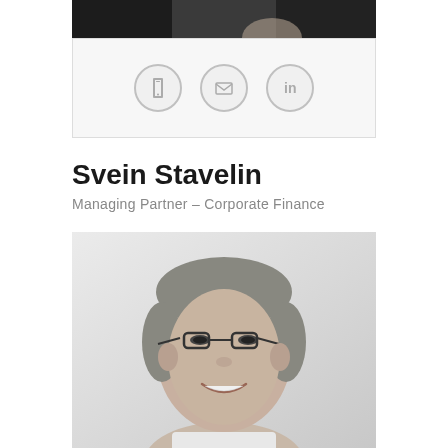[Figure (photo): Partial top photo of a person in dark clothing, cropped at the top of the page]
[Figure (infographic): Icon bar with three circular icons: phone, email, and LinkedIn]
Svein Stavelin
Managing Partner – Corporate Finance
[Figure (photo): Black and white professional headshot of Svein Stavelin, a middle-aged man with glasses and short gray hair, smiling]